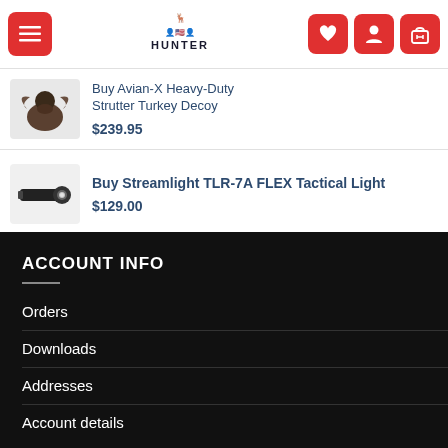USA Hunter navigation bar with menu, logo, wishlist, account, and cart buttons
$109.00
Buy Avian-X Heavy-Duty Strutter Turkey Decoy — $239.95
Buy Streamlight TLR-7A FLEX Tactical Light — $129.00
ACCOUNT INFO
Orders
Downloads
Addresses
Account details